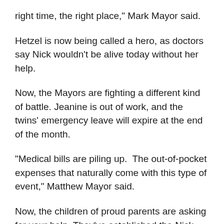right time, the right place," Mark Mayor said.
Hetzel is now being called a hero, as doctors say Nick wouldn't be alive today without her help.
Now, the Mayors are fighting a different kind of battle. Jeanine is out of work, and the twins' emergency leave will expire at the end of the month.
"Medical bills are piling up.  The out-of-pocket expenses that naturally come with this type of event," Matthew Mayor said.
Now, the children of proud parents are asking for your help. They've established the Nick Mayor Benefit Fund in the hopes others with heart can help their father